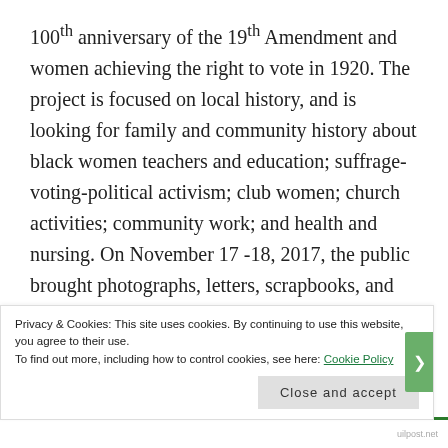100th anniversary of the 19th Amendment and women achieving the right to vote in 1920. The project is focused on local history, and is looking for family and community history about black women teachers and education; suffrage-voting-political activism; club women; church activities; community work; and health and nursing. On November 17 -18, 2017, the public brought photographs, letters, scrapbooks, and other memorabilia to the National Civil Rights Museum, where a team of scholars examined the collectables and selected items for the archivists to scan. As one of the humanities scholars for the project, and a specialist in the study of historic African
Privacy & Cookies: This site uses cookies. By continuing to use this website, you agree to their use.
To find out more, including how to control cookies, see here: Cookie Policy
Close and accept
uilpost.net